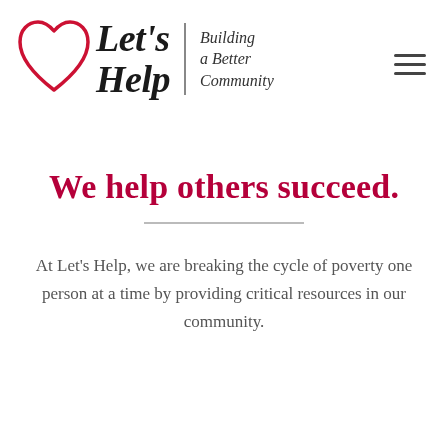[Figure (logo): Let's Help logo: red heart outline on left, bold italic text 'Let's Help', vertical divider, italic tagline 'Building a Better Community', and hamburger menu icon on right]
We help others succeed.
At Let's Help, we are breaking the cycle of poverty one person at a time by providing critical resources in our community.